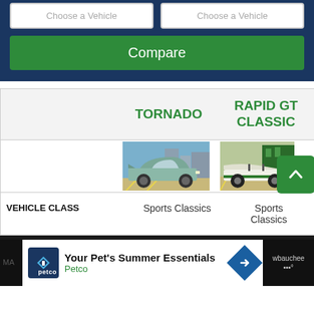[Figure (screenshot): Blue background UI section with two 'Choose a Vehicle' dropdown boxes and a green Compare button]
TORNADO
RAPID GT CLASSIC
[Figure (photo): Photo of a light blue classic car (Tornado) in a parking lot]
[Figure (photo): Photo of a green and white sports classic car (Rapid GT Classic) in a parking lot]
|  | TORNADO | RAPID GT CLASSIC |
| --- | --- | --- |
| VEHICLE CLASS | Sports Classics | Sports Classics |
[Figure (screenshot): Petco advertisement banner: Your Pet's Summer Essentials - Petco]